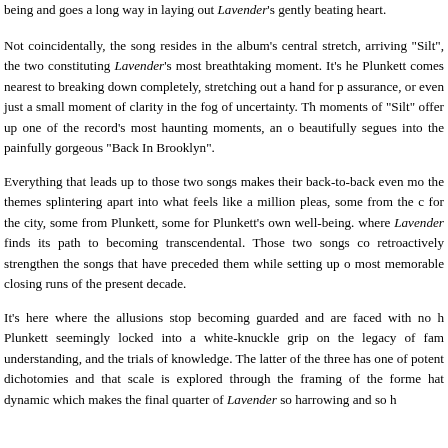being and goes a long way in laying out Lavender's gently beating heart.
Not coincidentally, the song resides in the album's central stretch, arriving "Silt", the two constituting Lavender's most breathtaking moment. It's he Plunkett comes nearest to breaking down completely, stretching out a hand for p assurance, or even just a small moment of clarity in the fog of uncertainty. Th moments of "Silt" offer up one of the record's most haunting moments, an o beautifully segues into the painfully gorgeous "Back In Brooklyn".
Everything that leads up to those two songs makes their back-to-back even mo the themes splintering apart into what feels like a million pleas, some from the c for the city, some from Plunkett, some for Plunkett's own well-being. where Lavender finds its path to becoming transcendental. Those two songs co retroactively strengthen the songs that have preceded them while setting up o most memorable closing runs of the present decade.
It's here where the allusions stop becoming guarded and are faced with no h Plunkett seemingly locked into a white-knuckle grip on the legacy of fam understanding, and the trials of knowledge. The latter of the three has one of potent dichotomies and that scale is explored through the framing of the forme hat dynamic which makes the final quarter of Lavender so harrowing and so h